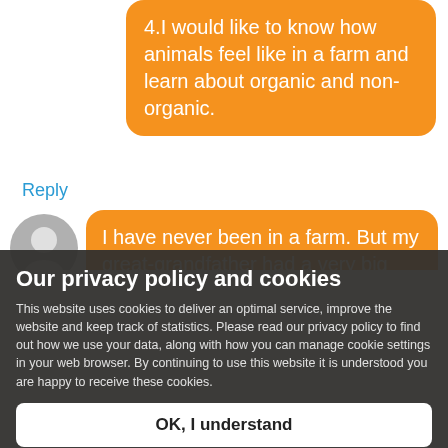4. I would like to know how animals feel like in a farm and learn about organic and non-organic.
Reply
I have never been in a farm. But my great-grandfather had a very big farm. So I can't wait to hear
Our privacy policy and cookies
This website uses cookies to deliver an optimal service, improve the website and keep track of statistics. Please read our privacy policy to find out how we use your data, along with how you can manage cookie settings in your web browser. By continuing to use this website it is understood you are happy to receive these cookies.
OK, I understand
Privacy Policy
Help with cookies